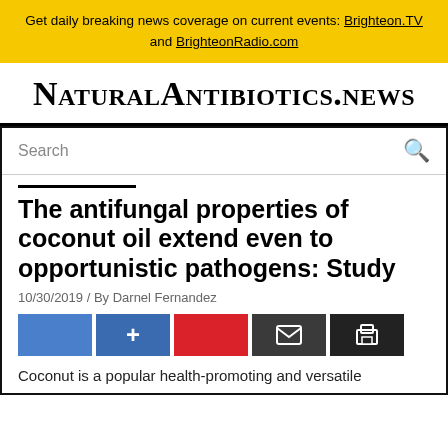Get daily breaking news coverage on current events: Brighteon.TV and BrighteonRadio.com
NaturalAntibiotics.news
[Figure (screenshot): Search bar with magnifying glass icon]
The antifungal properties of coconut oil extend even to opportunistic pathogens: Study
10/30/2019 / By Darnel Fernandez
[Figure (other): Social sharing buttons: Facebook, Facebook share (+), Pinterest, Email, Print]
Coconut is a popular health-promoting and versatile